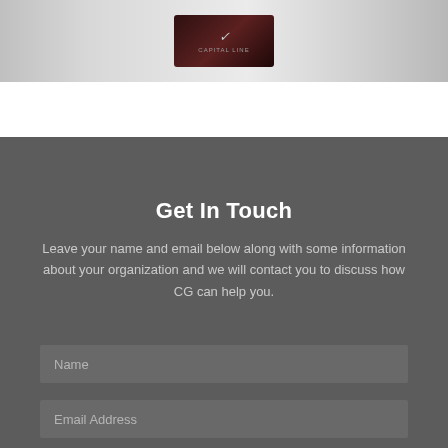[Figure (photo): Top portion of page showing a room interior with a dark branded logo card/plaque visible in the center, light-colored walls and window visible on right]
Get In Touch
Leave your name and email below along with some information about your organization and we will contact you to discuss how CG can help you.
Name
Email Address